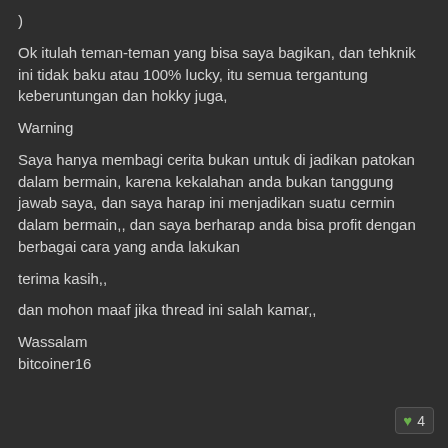)
Ok itulah teman-teman yang bisa saya bagikan, dan tehknik ini tidak baku atau 100% lucky, itu semua tergantung keberuntungan dan hokky juga,
Warning
Saya hanya membagi cerita bukan untuk di jadikan patokan dalam bermain, karena kekalahan anda bukan tanggung jawab saya, dan saya harap ini menjadikan suatu cermin dalam bermain,, dan saya berharap anda bisa profit dengan berbagai cara yang anda lakukan
terima kasih,,
dan mohon maaf jika thread ini salah kamar,,
Wassalam
bitcoiner16